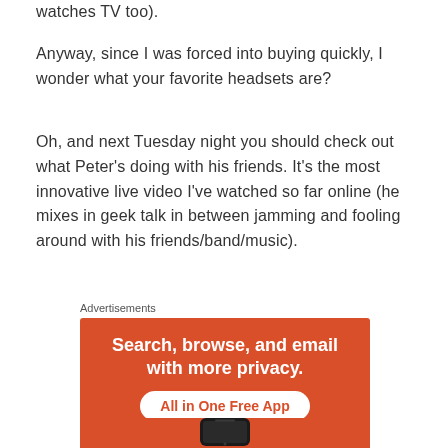watches TV too).
Anyway, since I was forced into buying quickly, I wonder what your favorite headsets are?
Oh, and next Tuesday night you should check out what Peter's doing with his friends. It's the most innovative live video I've watched so far online (he mixes in geek talk in between jamming and fooling around with his friends/band/music).
Advertisements
[Figure (infographic): Orange advertisement banner with text 'Search, browse, and email with more privacy. All in One Free App' and a phone graphic at the bottom.]